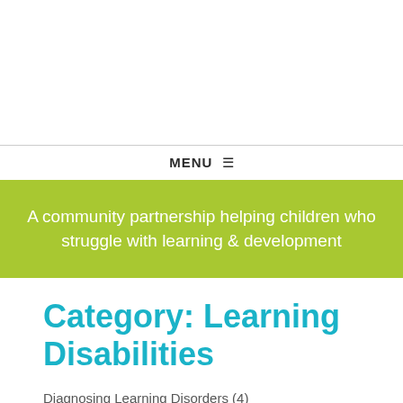MENU ≡
A community partnership helping children who struggle with learning & development
Category: Learning Disabilities
Diagnosing Learning Disorders (4)
Dyscalculia (5)